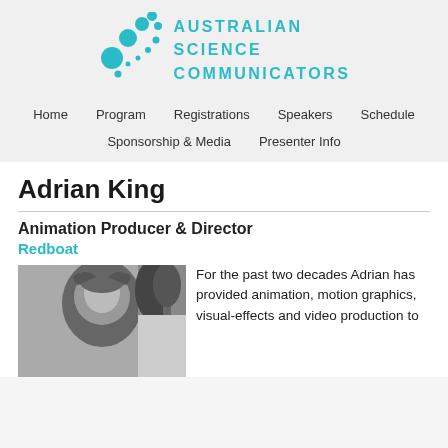[Figure (logo): Australian Science Communicators logo with teal circular dots arranged in an arc and teal text]
Home   Program   Registrations   Speakers   Schedule   Sponsorship & Media   Presenter Info
Adrian King
Animation Producer & Director
Redboat
[Figure (photo): Black and white photo of Adrian King]
For the past two decades Adrian has provided animation, motion graphics, visual-effects and video production to